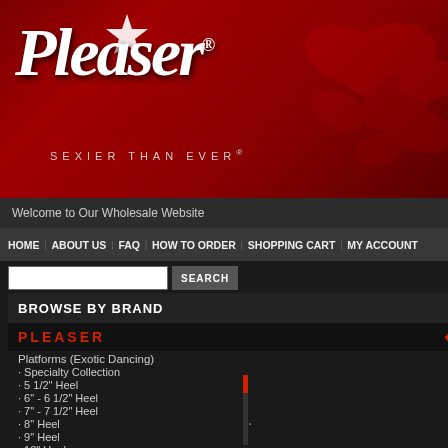[Figure (screenshot): Pleaser brand header banner with red background, butterfly silhouettes, Pleaser logo in white italic script, and tagline SEXIER THAN EVER]
Welcome to Our Wholesale Website
HOME | ABOUT US | FAQ | HOW TO ORDER | SHOPPING CART | MY ACCOUNT
BROWSE BY BRAND
PLEASER
Platforms (Exotic Dancing)
· Specialty Collection
· 5 1/2" Heel
· 6" - 6 1/2" Heel
· 7" - 7 1/2" Heel
· 8" Heel
· 9" Heel
· 10" Heel
· Ankle/Mid-Calf Boots
· Knee High Boots
· Thigh High Boots
· Crotch/Chap Boots
Pleaser : Platforms (Exotic Dancing) : A
[Figure (photo): Black patent high heel platform ankle boot with lace-up front, 7.5 inch heel, with PRE-ORDER NOW purple badge]
ENCHANT- 7 1/2" Heel Size: 5-10 7 1/2" (191m Design at the MULTI VIEW
[Figure (photo): Second product listing showing black boot with PRE-ORDER NOW badge]